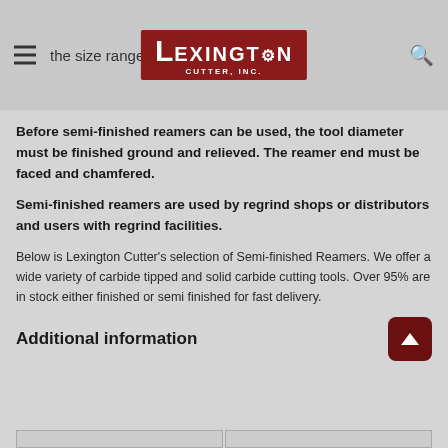the size range — Lexington Cutter, Inc.
Before semi-finished reamers can be used, the tool diameter must be finished ground and relieved. The reamer end must be faced and chamfered.
Semi-finished reamers are used by regrind shops or distributors and users with regrind facilities.
Below is Lexington Cutter's selection of Semi-finished Reamers. We offer a wide variety of carbide tipped and solid carbide cutting tools. Over 95% are in stock either finished or semi finished for fast delivery.
Additional information